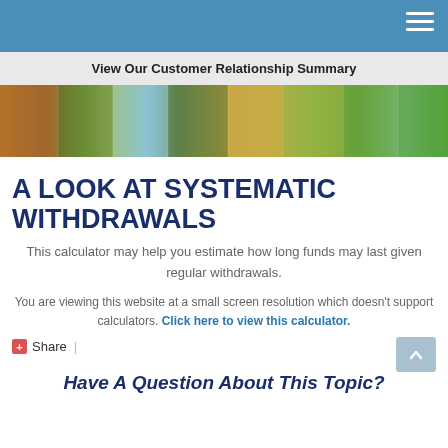View Our Customer Relationship Summary
[Figure (photo): Horizontal banner photo strip of park scenery with colorful autumn trees and an urban park setting]
A LOOK AT SYSTEMATIC WITHDRAWALS
This calculator may help you estimate how long funds may last given regular withdrawals.
You are viewing this website at a small screen resolution which doesn't support calculators. Click here to view this calculator.
Share  |
Have A Question About This Topic?